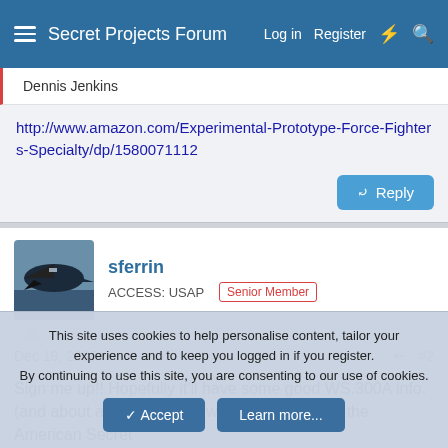Secret Projects Forum  Log in  Register
Dennis Jenkins
http://www.amazon.com/Experimental-Prototype-Force-Fighters-Specialty/dp/1580071112
sferrin
ACCESS: USAP  Senior Member
Dec 19, 2007    #2
Sign me up!! Hopefully it'll have some good WS.300A info. (and about a dozen other awesome designs in the American Secret
This site uses cookies to help personalise content, tailor your experience and to keep you logged in if you register.
By continuing to use this site, you are consenting to our use of cookies.